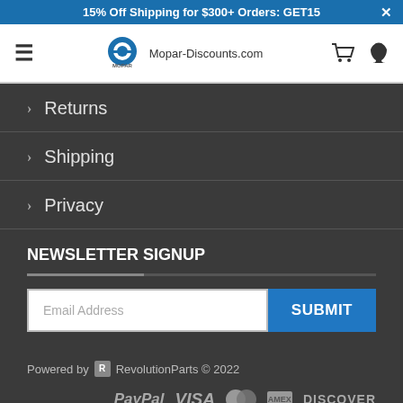15% Off Shipping for $300+ Orders: GET15
[Figure (logo): Mopar-Discounts.com logo with hamburger menu, Mopar M logo, site name, cart icon, and phone icon]
Returns
Shipping
Privacy
NEWSLETTER SIGNUP
Email Address
SUBMIT
Powered by RevolutionParts © 2022
[Figure (logo): Payment icons: PayPal, VISA, Mastercard, Amex, DISCOVER]